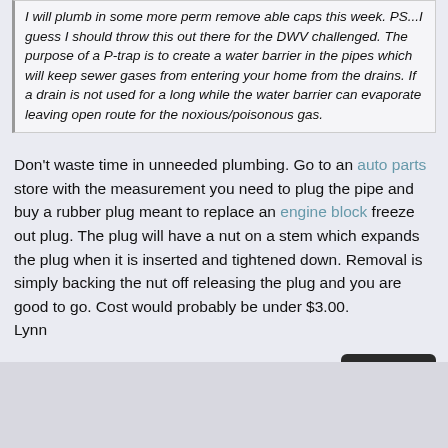I will plumb in some more perm remove able caps this week. PS...I guess I should throw this out there for the DWV challenged. The purpose of a P-trap is to create a water barrier in the pipes which will keep sewer gases from entering your home from the drains. If a drain is not used for a long while the water barrier can evaporate leaving open route for the noxious/poisonous gas.
Don't waste time in unneeded plumbing. Go to an auto parts store with the measurement you need to plug the pipe and buy a rubber plug meant to replace an engine block freeze out plug. The plug will have a nut on a stem which expands the plug when it is inserted and tightened down. Removal is simply backing the nut off releasing the plug and you are good to go. Cost would probably be under $3.00. Lynn